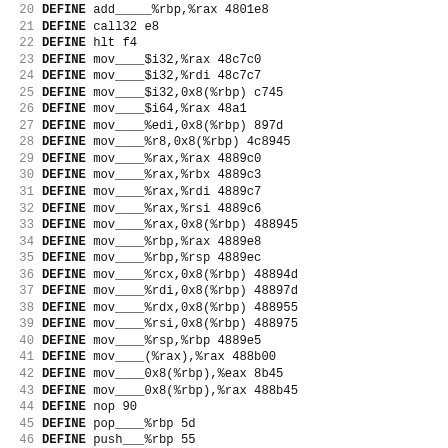Assembly DEFINE directives listing lines 20-51, showing instruction mnemonics and their opcode bytes.